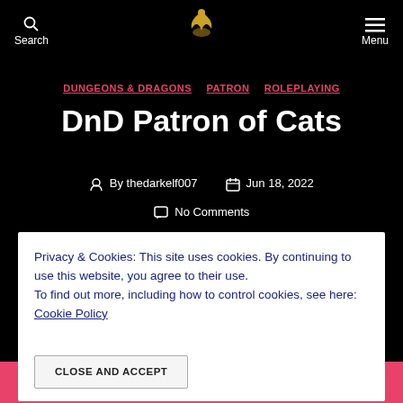Search  Menu
DUNGEONS & DRAGONS  PATRON  ROLEPLAYING
DnD Patron of Cats
By thedarkelf007  Jun 18, 2022
No Comments
Privacy & Cookies: This site uses cookies. By continuing to use this website, you agree to their use. To find out more, including how to control cookies, see here: Cookie Policy
CLOSE AND ACCEPT
Dragons –